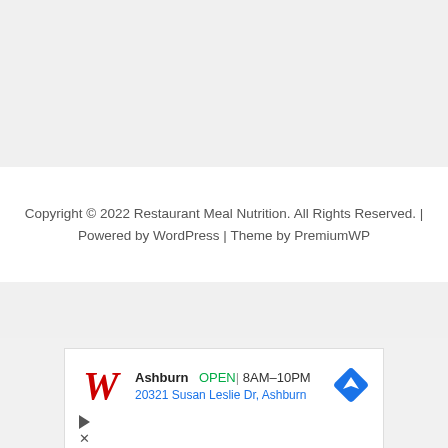Copyright © 2022 Restaurant Meal Nutrition. All Rights Reserved. | Powered by WordPress | Theme by PremiumWP
[Figure (other): Walgreens advertisement showing Ashburn location, OPEN 8AM-10PM, address 20321 Susan Leslie Dr, Ashburn, with navigation icon]